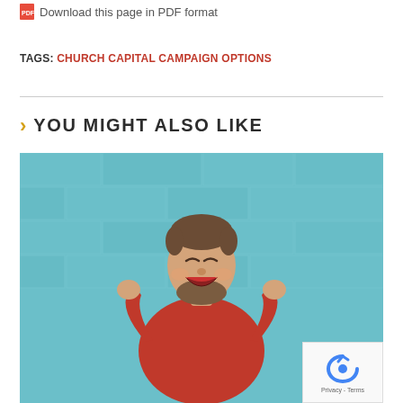Download this page in PDF format
TAGS: CHURCH CAPITAL CAMPAIGN OPTIONS
YOU MIGHT ALSO LIKE
[Figure (photo): A smiling bearded man in a red sweater celebrating with raised fists against a blue brick wall background. A reCAPTCHA privacy overlay appears in the bottom right corner.]